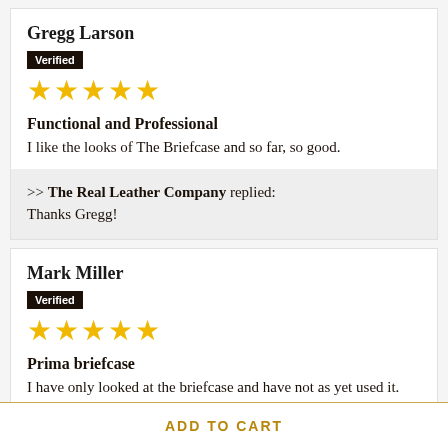Gregg Larson
Verified
★★★★★
Functional and Professional
I like the looks of The Briefcase and so far, so good.
>> The Real Leather Company replied:
Thanks Gregg!
Mark Miller
Verified
★★★★★
Prima briefcase
I have only looked at the briefcase and have not as yet used it. However, it looks of good
ADD TO CART